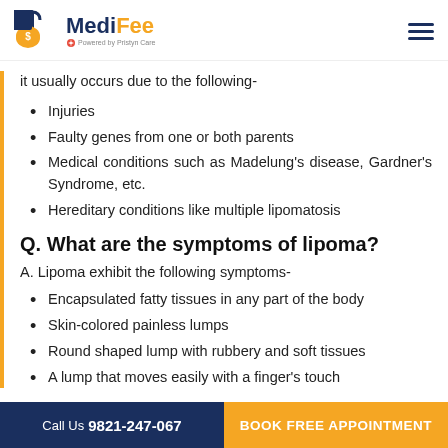MediFee - Powered by Pristyn Care
it usually occurs due to the following-
Injuries
Faulty genes from one or both parents
Medical conditions such as Madelung's disease, Gardner's Syndrome, etc.
Hereditary conditions like multiple lipomatosis
Q. What are the symptoms of lipoma?
A. Lipoma exhibit the following symptoms-
Encapsulated fatty tissues in any part of the body
Skin-colored painless lumps
Round shaped lump with rubbery and soft tissues
A lump that moves easily with a finger's touch
Call Us 9821-247-067  |  BOOK FREE APPOINTMENT